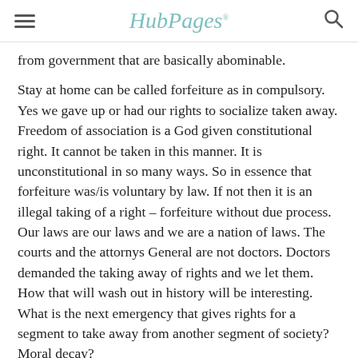HubPages
from government that are basically abominable.
Stay at home can be called forfeiture as in compulsory. Yes we gave up or had our rights to socialize taken away. Freedom of association is a God given constitutional right. It cannot be taken in this manner. It is unconstitutional in so many ways. So in essence that forfeiture was/is voluntary by law. If not then it is an illegal taking of a right – forfeiture without due process. Our laws are our laws and we are a nation of laws. The courts and the attornys General are not doctors. Doctors demanded the taking away of rights and we let them. How that will wash out in history will be interesting. What is the next emergency that gives rights for a segment to take away from another segment of society? Moral decay?
Hey I gladly voluntarily gave up my rights. My choice. I complain not an inch. Besides we are having a blast in that we were well situated for such issues.